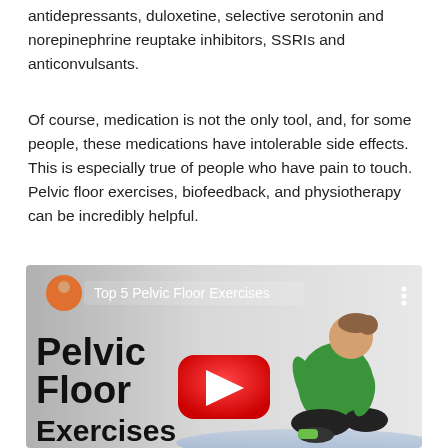antidepressants, duloxetine, selective serotonin and norepinephrine reuptake inhibitors, SSRIs and anticonvulsants.
Of course, medication is not the only tool, and, for some people, these medications have intolerable side effects. This is especially true of people who have pain to touch. Pelvic floor exercises, biofeedback, and physiotherapy can be incredibly helpful.
[Figure (screenshot): YouTube video thumbnail titled 'Top 5 Pelvic Floor Exercises' showing large bold text 'Pelvic Floor Exercises' on left side and a woman in a green shirt sitting on a mat on the right, with a YouTube play button overlay in the center.]